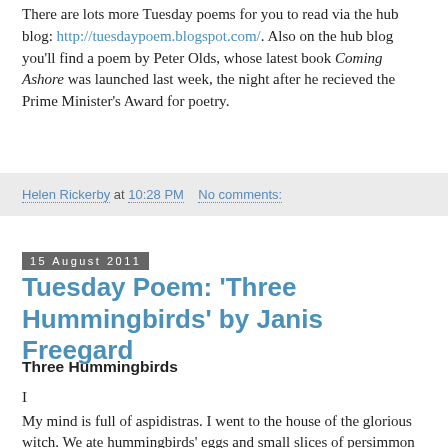There are lots more Tuesday poems for you to read via the hub blog: http://tuesdaypoem.blogspot.com/. Also on the hub blog you'll find a poem by Peter Olds, whose latest book Coming Ashore was launched last week, the night after he recieved the Prime Minister's Award for poetry.
Helen Rickerby at 10:28 PM   No comments:
15 August 2011
Tuesday Poem: 'Three Hummingbirds' by Janis Freegard
Three Hummingbirds
I
My mind is full of aspidistras. I went to the house of the glorious witch. We ate hummingbirds' eggs and small slices of persimmon glazed with honey. I wanted her to teach me how to fly, but all I could say was